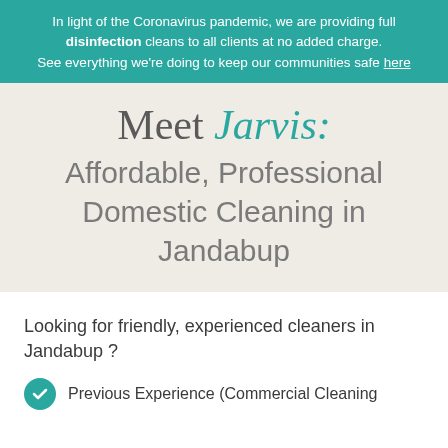In light of the Coronavirus pandemic, we are providing full disinfection cleans to all clients at no added charge. See everything we're doing to keep our communities safe here
Meet Jarvis: Affordable, Professional Domestic Cleaning in Jandabup
Looking for friendly, experienced cleaners in Jandabup ?
Previous Experience (Commercial Cleaning